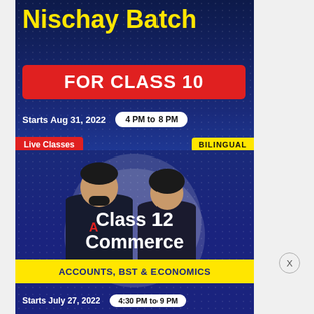Nischay Batch
FOR CLASS 10
Starts Aug 31, 2022   4 PM to 8 PM
Live Classes   BILINGUAL
[Figure (photo): Two teachers (male and female) in black outfits against a dark blue background with a white circular highlight]
Class 12 Commerce
ACCOUNTS, BST & ECONOMICS
Starts July 27, 2022   4:30 PM to 9 PM